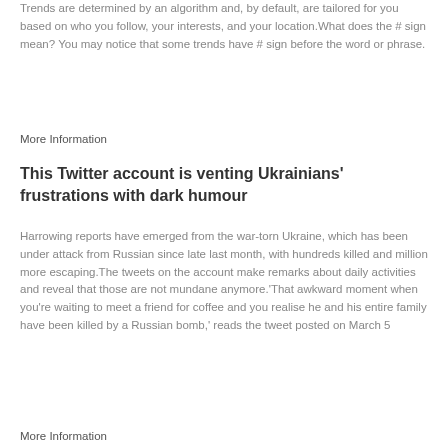Trends are determined by an algorithm and, by default, are tailored for you based on who you follow, your interests, and your location.What does the # sign mean? You may notice that some trends have # sign before the word or phrase.
More Information
This Twitter account is venting Ukrainians' frustrations with dark humour
Harrowing reports have emerged from the war-torn Ukraine, which has been under attack from Russian since late last month, with hundreds killed and million more escaping.The tweets on the account make remarks about daily activities and reveal that those are not mundane anymore.'That awkward moment when you're waiting to meet a friend for coffee and you realise he and his entire family have been killed by a Russian bomb,' reads the tweet posted on March 5
More Information